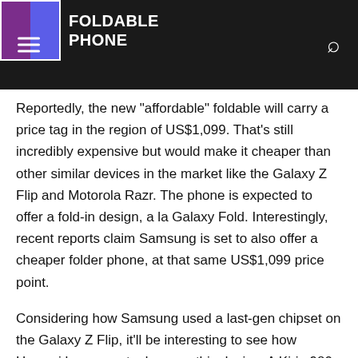FOLDABLE PHONE
Reportedly, the new "affordable" foldable will carry a price tag in the region of US$1,099. That's still incredibly expensive but would make it cheaper than other similar devices in the market like the Galaxy Z Flip and Motorola Razr. The phone is expected to offer a fold-in design, a la Galaxy Fold. Interestingly, recent reports claim Samsung is set to also offer a cheaper folder phone, at that same US$1,099 price point.
Considering how Samsung used a last-gen chipset on the Galaxy Z Flip, it'll be interesting to see how Huawei keeps costs down on this device. A Kirin 980, perhaps? More
By Ricci Rox, https://www.notebookcheck.net/